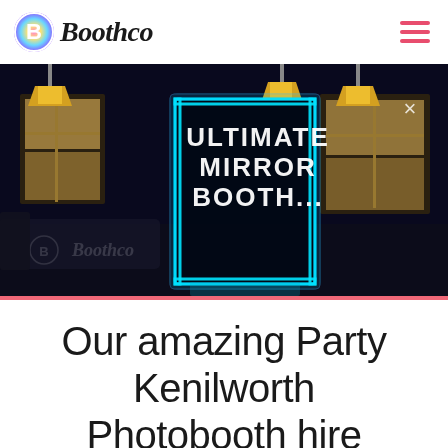Boothco
[Figure (photo): Dark venue interior photo showing illuminated mirror photo booth with neon frame, text overlay reading ULTIMATE MIRROR BOOTH..., Boothco logo in bottom left corner]
Our amazing Party Kenilworth Photobooth hire